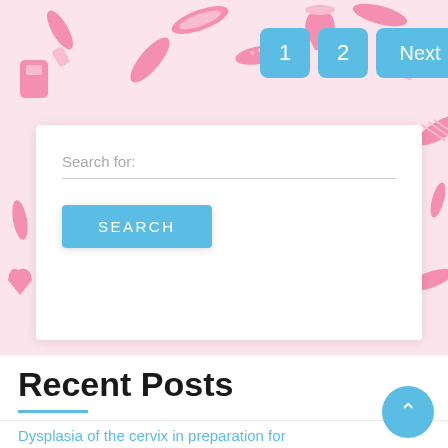[Figure (screenshot): Pink feminine hygiene product pattern background]
1  2  Next
Search for:
SEARCH
Recent Posts
Dysplasia of the cervix in preparation for pregnancy
What time of year is it better to plan conception and pregnancy?